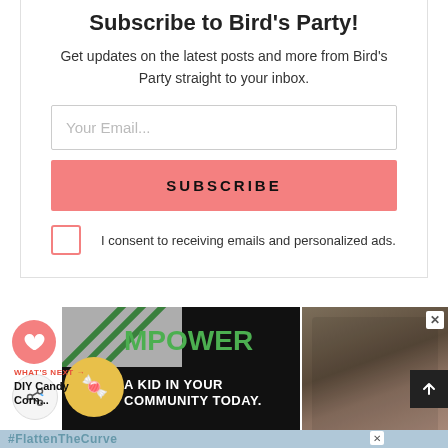Subscribe to Bird's Party!
Get updates on the latest posts and more from Bird's Party straight to your inbox.
[Figure (screenshot): Email subscription form with input field, Subscribe button, and consent checkbox]
[Figure (infographic): Ad: MPOWER - A kid in your community today. Shows green text on black background with candy corn image.]
[Figure (photo): Photo of adult and child together, appears to be a charity/community ad with X close button]
[Figure (infographic): #FlattenTheCurve banner ad in blue/grey with handwashing image and close button]
WHAT'S NEXT → DIY Candy Corn...